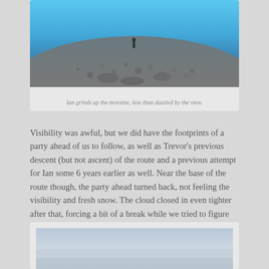[Figure (photo): Person climbing up a rocky moraine with blue sky/cloud background, viewed from below]
Ian grinds up the moraine, less than dazzled by the view.
Visibility was awful, but we did have the footprints of a party ahead of us to follow, as well as Trevor's previous descent (but not ascent) of the route and a previous attempt for Ian some 6 years earlier as well. Near the base of the route though, the party ahead turned back, not feeling the visibility and fresh snow. The cloud closed in even tighter after that, forcing a bit of a break while we tried to figure out where exactly our objective was.
[Figure (photo): Misty/cloudy landscape with low visibility, grey and pale blue tones]